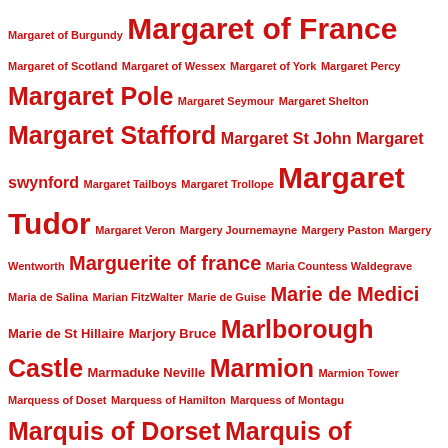Margaret of Burgundy Margaret of France Margaret of Scotland Margaret of Wessex Margaret of York Margaret Percy Margaret Pole Margaret Seymour Margaret Shelton Margaret Stafford Margaret St John Margaret swynford Margaret Tailboys Margaret Trollope Margaret Tudor Margaret Veron Margery Journemayne Margery Paston Margery Wentworth Marguerite of france Maria Countess Waldegrave Maria de Salina Marian FitzWalter Marie de Guise Marie de Medici Marie de St Hillaire Marjory Bruce Marlborough Castle Marmaduke Neville Marmion Marmion Tower Marquess of Doset Marquess of Hamilton Marquess of Montagu Marquis of Dorset Marquis of Hartington Marriage Act 1772 Marshalsea Marshalsea Prison Martel Martin Frobisher Martinmas martlemas Marton Priory Mary Abbess of Romsey Mary Ann Campion Mary Ann Cavendish Mary Beaumont Mary Berkeley Mary Bohun Mary Boleyn Mary Cavendish Mary Cheke Mary Countess of Boulogne Mary Curle Mary Dacre Mary de Bohun Mary Dudley Mary Ferrers' of Wem Mary Fleming Mary Hall Mary Henrietta Mary Hepburn Mary Howard Mary Lake